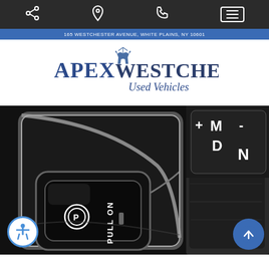Navigation bar with share, location, phone, and menu icons
165 WESTCHESTER AVENUE, WHITE PLAINS, NY 10601
[Figure (logo): Apex Westchester Used Vehicles logo with star/deer graphic, blue and dark serif text]
[Figure (photo): Close-up of a vehicle center console showing an electronic parking brake button labeled 'PULL ON' with a P-circle icon, chrome trim, and gear shift paddle with +/M/D/N labels. Black leather shifter visible on the right.]